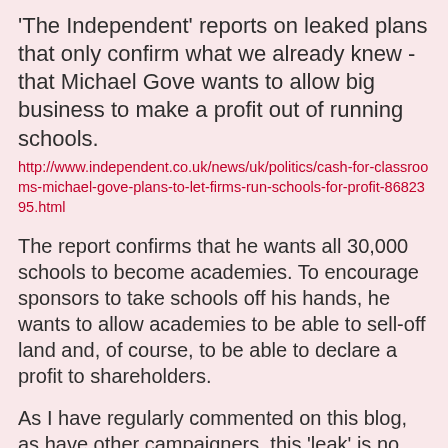'The Independent' reports on leaked plans that only confirm what we already knew - that Michael Gove wants to allow big business to make a profit out of running schools.
http://www.independent.co.uk/news/uk/politics/cash-for-classrooms-michael-gove-plans-to-let-firms-run-schools-for-profit-8682395.html
The report confirms that he wants all 30,000 schools to become academies. To encourage sponsors to take schools off his hands, he wants to allow academies to be able to sell-off land and, of course, to be able to declare a profit to shareholders.
As I have regularly commented on this blog, as have other campaigners, this 'leak' is no real surprise. Gove's agenda has always been to privatise and turn schools, like other public services, into just another source of profit for the Government's big business friends.